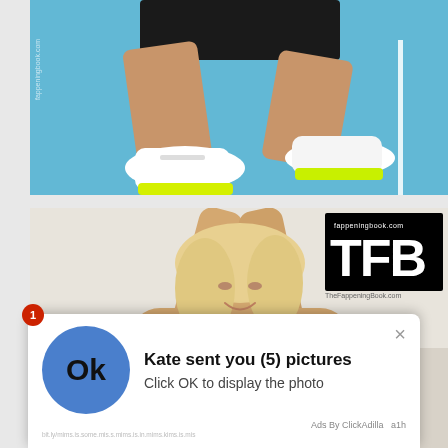[Figure (photo): Person crouching on a blue athletic track surface wearing white high-top sneakers with yellow-green accents and black shorts]
[Figure (photo): Blonde woman with arms raised above her head, eyes closed, smiling, with a TFB (The Fappening Book) watermark logo in the top right corner]
[Figure (infographic): Fake ad popup overlay showing a blue circle with 'Ok' text and message: Kate sent you (5) pictures. Click OK to display the photo. Ads By ClickAdilla. Red notification badge showing 1. Close X button.]